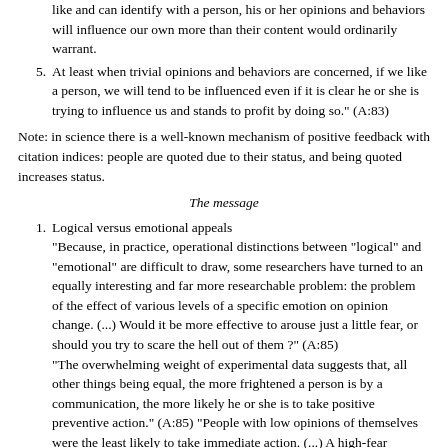like and can identify with a person, his or her opinions and behaviors will influence our own more than their content would ordinarily warrant.
At least when trivial opinions and behaviors are concerned, if we like a person, we will tend to be influenced even if it is clear he or she is trying to influence us and stands to profit by doing so." (A:83)
Note: in science there is a well-known mechanism of positive feedback with citation indices: people are quoted due to their status, and being quoted increases status.
The message
Logical versus emotional appeals
"Because, in practice, operational distinctions between "logical" and "emotional" are difficult to draw, some researchers have turned to an equally interesting and far more researchable problem: the problem of the effect of various levels of a specific emotion on opinion change. (...) Would it be more effective to arouse just a little fear, or should you try to scare the hell out of them ?" (A:85)
"The overwhelming weight of experimental data suggests that, all other things being equal, the more frightened a person is by a communication, the more likely he or she is to take positive preventive action." (A:85) "People with low opinions of themselves were the least likely to take immediate action. (...) A high-fear communication overwhelms them (...)" (A:86) and "If you were to construct a message containing clear, specific and optimistic instructions, it might increase the feeling (...) that they could confront their fears and cope with the danger." (A:87)
In the case of AIDS though: "a great many individuals will block all thoughts of death, disease, and condoms out of their minds.